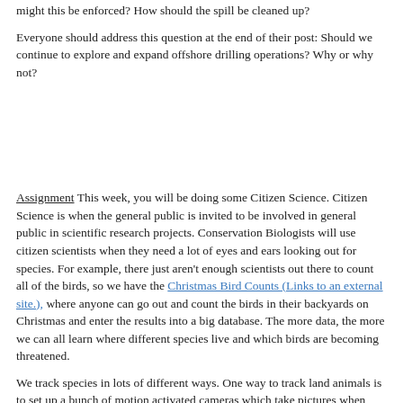might this be enforced? How should the spill be cleaned up?
Everyone should address this question at the end of their post: Should we continue to explore and expand offshore drilling operations? Why or why not?
Assignment This week, you will be doing some Citizen Science. Citizen Science is when the general public is invited to be involved in general public in scientific research projects. Conservation Biologists will use citizen scientists when they need a lot of eyes and ears looking out for species. For example, there just aren't enough scientists out there to count all of the birds, so we have the Christmas Bird Counts (Links to an external site.), where anyone can go out and count the birds in their backyards on Christmas and enter the results into a big database. The more data, the more we can all learn where different species live and which birds are becoming threatened.
We track species in lots of different ways. One way to track land animals is to set up a bunch of motion activated cameras which take pictures when something moves near it. Researchers in Singita Grumeti Game Reserve (Links to an external site.) in Tanzania are using motion-activated trail cameras to track the wildebeest migration. Hundreds of thousands of photos captured by these